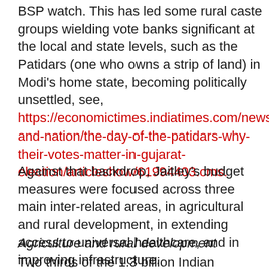BSP watch. This has led some rural caste groups wielding vote banks significant at the local and state levels, such as the Patidars (one who owns a strip of land) in Modi's home state, becoming politically unsettled, see, https://economictimes.indiatimes.com/news/politics-and-nation/the-day-of-the-patidars-why-their-votes-matter-in-gujarat-election/articleshow/61994403.cms.
Against that backdrop, Jaitley's budget measures were focused across three main inter-related areas, in agricultural and rural development, in extending access to universal healthcare, and in improving infrastructure.
Agriculture and rural development
Two thirds of the 1.3 billion Indian population